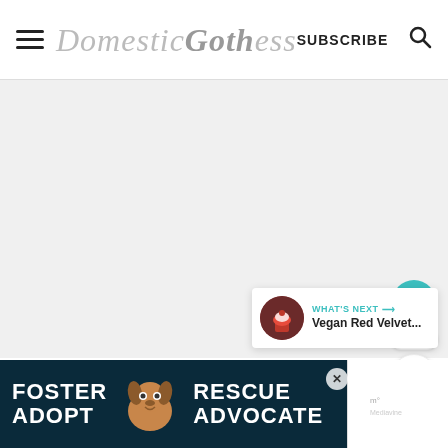≡ Domestic Gothess SUBSCRIBE 🔍
[Figure (screenshot): Large blank/light gray image area filling most of the page body]
[Figure (infographic): Floating action buttons: teal heart icon with 1.3K count and share icon on the right side]
[Figure (infographic): What's Next card: thumbnail of red velvet cupcake with text 'WHAT'S NEXT → Vegan Red Velvet...']
[Figure (screenshot): Bottom advertisement banner with dark teal background showing 'FOSTER ADOPT' and 'RESCUE ADVOCATE' text with a beagle dog photo, close button, and Mediavine logo]